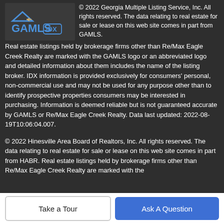[Figure (logo): GAMLS IDX logo — blue GAMLS text with IDX in a rounded rectangle and a house/arrow graphic, on a dark background]
© 2022 Georgia Multiple Listing Service, Inc. All rights reserved. The data relating to real estate for sale or lease on this web site comes in part from GAMLS. Real estate listings held by brokerage firms other than Re/Max Eagle Creek Realty are marked with the GAMLS logo or an abbreviated logo and detailed information about them includes the name of the listing broker. IDX information is provided exclusively for consumers' personal, non-commercial use and may not be used for any purpose other than to identify prospective properties consumers may be interested in purchasing. Information is deemed reliable but is not guaranteed accurate by GAMLS or Re/Max Eagle Creek Realty. Data last updated: 2022-08-19T10:06:04.007.
© 2022 Hinesville Area Board of Realtors, Inc. All rights reserved. The data relating to real estate for sale or lease on this web site comes in part from HABR. Real estate listings held by brokerage firms other than Re/Max Eagle Creek Realty are marked with the HABR logo or an abbreviated logo and detailed information about them...
Take a Tour
Ask A Question